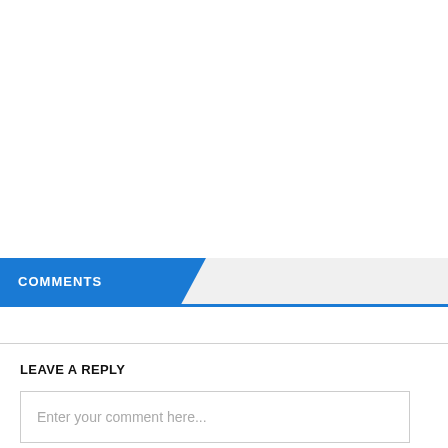COMMENTS
LEAVE A REPLY
Enter your comment here...